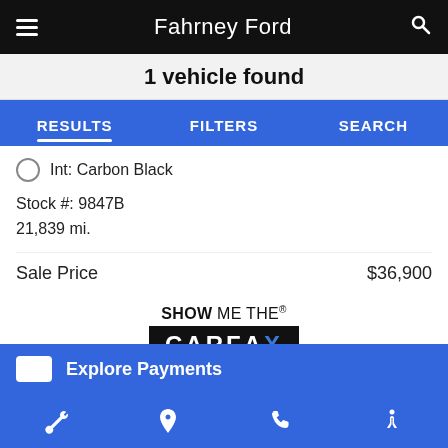Fahrney Ford
1 vehicle found
RESULTS  FILTERS  SEARCH
Int: Carbon Black
Stock #: 9847B
21,839 mi.
Sale Price  $36,900
[Figure (logo): SHOW ME THE CARFAX logo]
Explore Payments
Bottom navigation bar with wrench, location pin, phone, and accessibility icons